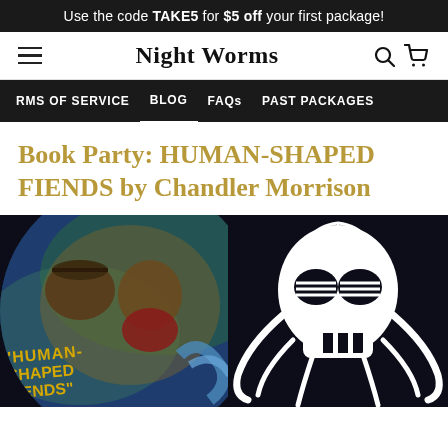Use the code TAKE5 for $5 off your first package!
Night Worms
RMS OF SERVICE   BLOG   FAQs   PAST PACKAGES
Book Party: HUMAN-SHAPED FIENDS by Chandler Morrison
[Figure (photo): Left: circular book cover art for 'Human-Shaped Fiends' showing two figures in a painted western/horror style with yellow title text. Right: Night Worms skull-with-tentacles logo in white on dark background.]